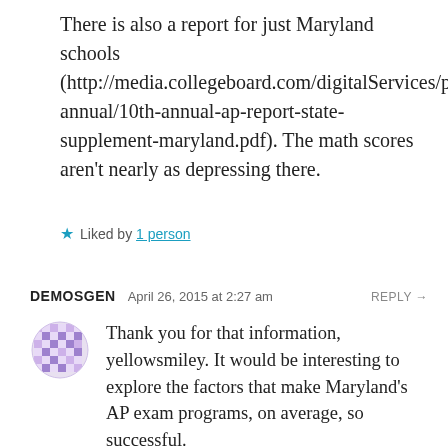There is also a report for just Maryland schools (http://media.collegeboard.com/digitalServices/pdf/ap/rtn/10th-annual/10th-annual-ap-report-state-supplement-maryland.pdf). The math scores aren't nearly as depressing there.
★ Liked by 1 person
DEMOSGEN  April 26, 2015 at 2:27 am  REPLY →
[Figure (illustration): Purple/lavender checkered circular avatar icon]
Thank you for that information, yellowsmiley. It would be interesting to explore the factors that make Maryland's AP exam programs, on average, so successful.